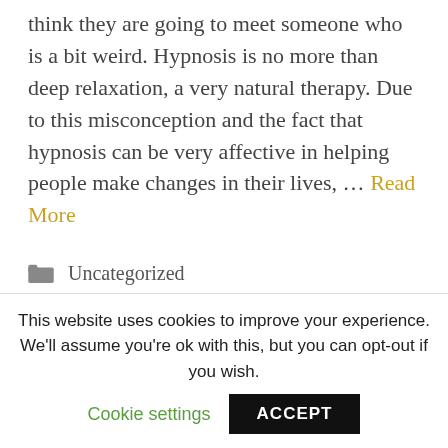think they are going to meet someone who is a bit weird. Hypnosis is no more than deep relaxation, a very natural therapy. Due to this misconception and the fact that hypnosis can be very affective in helping people make changes in their lives, ... Read More
Uncategorized
ailment, alternative, development, diseases, health, Help, hypnosis?, psychology, really, repairs, self, such, there, thing, uncategorized
This website uses cookies to improve your experience. We'll assume you're ok with this, but you can opt-out if you wish.
Cookie settings   ACCEPT